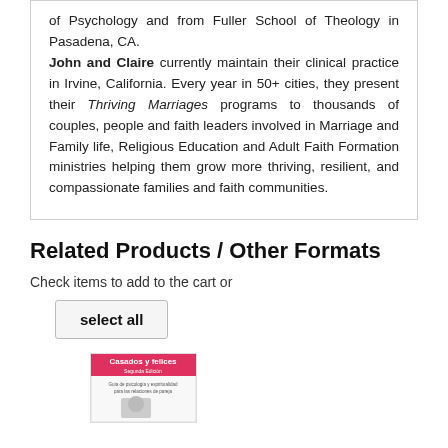of Psychology and from Fuller School of Theology in Pasadena, CA.

John and Claire currently maintain their clinical practice in Irvine, California. Every year in 50+ cities, they present their Thriving Marriages programs to thousands of couples, people and faith leaders involved in Marriage and Family life, Religious Education and Adult Faith Formation ministries helping them grow more thriving, resilient, and compassionate families and faith communities.
Related Products / Other Formats
Check items to add to the cart or
select all
[Figure (photo): Book cover for 'Casados y felices' - Spanish language book with subtitle text visible]